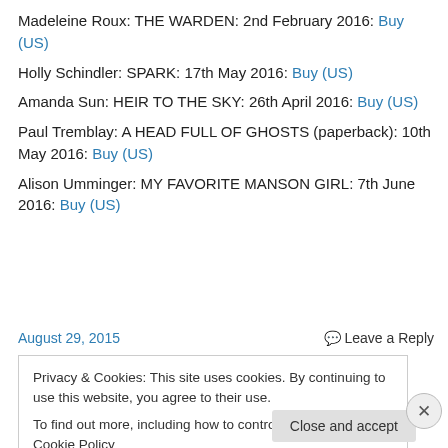Madeleine Roux: THE WARDEN: 2nd February 2016: Buy (US)
Holly Schindler: SPARK: 17th May 2016: Buy (US)
Amanda Sun: HEIR TO THE SKY: 26th April 2016: Buy (US)
Paul Tremblay: A HEAD FULL OF GHOSTS (paperback): 10th May 2016: Buy (US)
Alison Umminger: MY FAVORITE MANSON GIRL: 7th June 2016: Buy (US)
August 29, 2015
Leave a Reply
Privacy & Cookies: This site uses cookies. By continuing to use this website, you agree to their use. To find out more, including how to control cookies, see here: Cookie Policy